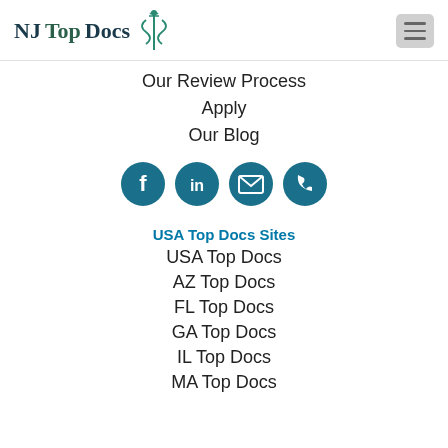NJ Top Docs
Our Review Process
Apply
Our Blog
[Figure (infographic): Four circular social media/contact icons in teal: Facebook (f), LinkedIn (in), Email (envelope), Phone (handset)]
USA Top Docs Sites
USA Top Docs
AZ Top Docs
FL Top Docs
GA Top Docs
IL Top Docs
MA Top Docs